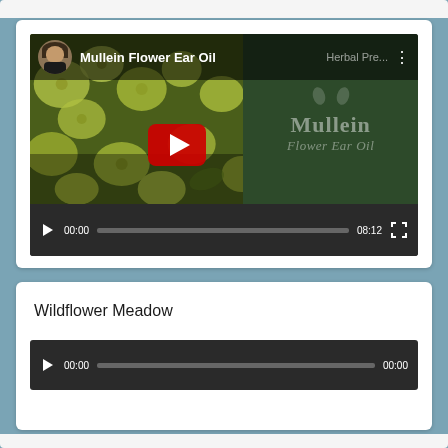[Figure (screenshot): Embedded YouTube video player showing 'Mullein Flower Ear Oil' video. Left side shows yellow-green flowers background with a large red YouTube play button. Right side shows dark green branding panel with leaf icons and 'Mullein Flower Ear Oil' text. Top bar shows avatar portrait, video title, and three-dot menu. Bottom controls show play button, 00:00 timestamp, progress bar, 08:12 duration, and fullscreen icon.]
Wildflower Meadow
[Figure (screenshot): Audio player with dark background showing play button, 00:00 start time, grey progress bar, and 00:00 end time for 'Wildflower Meadow' audio track.]